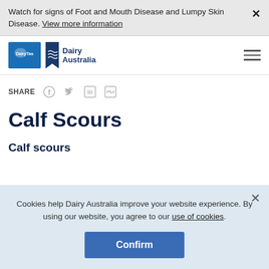Watch for signs of Foot and Mouth Disease and Lumpy Skin Disease. View more information
[Figure (logo): DairyTas and Dairy Australia logos side by side]
SHARE
Calf Scours
Calf scours
Cookies help Dairy Australia improve your website experience. By using our website, you agree to our use of cookies.
Confirm